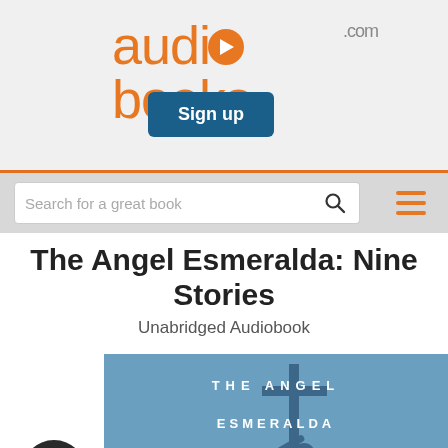[Figure (logo): audiobooks.com logo with orange play button icon inside the letter 'o']
Sign up
Search for a great book
The Angel Esmeralda: Nine Stories
Unabridged Audiobook
[Figure (illustration): Book cover for The Angel Esmeralda: Nine Stories — blue background with silhouette of figure holding a cross, text reading THE ANGEL ESMERALDA NINE STORIES]